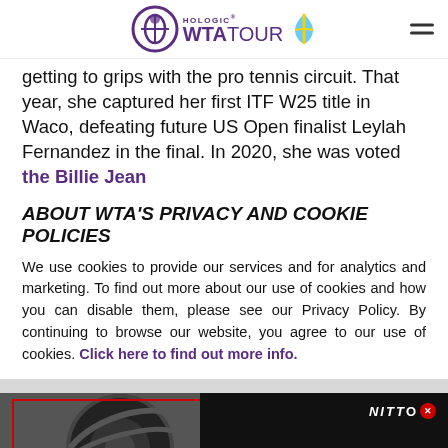Hologic WTA Tour
getting to grips with the pro tennis circuit. That year, she captured her first ITF W25 title in Waco, defeating future US Open finalist Leylah Fernandez in the final. In 2020, she was voted the Billie Jean
ABOUT WTA'S PRIVACY AND COOKIE POLICIES
We use cookies to provide our services and for analytics and marketing. To find out more about our use of cookies and how you can disable them, please see our Privacy Policy. By continuing to browse our website, you agree to our use of cookies. Click here to find out more info.
[Figure (other): Nitto Recon Grappler A/T tire advertisement banner with dark background showing tire image on left and Learn More button on right]